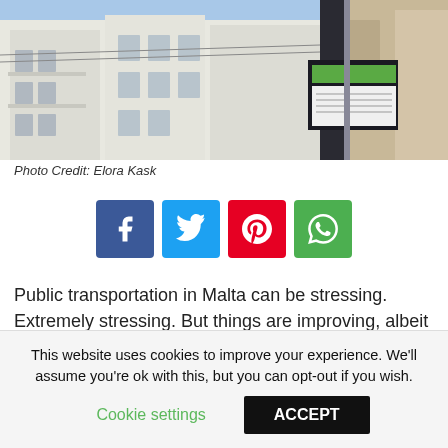[Figure (photo): Street scene with white Mediterranean-style apartment buildings and a bus stop sign pole against a blue sky]
Photo Credit: Elora Kask
[Figure (infographic): Social sharing buttons: Facebook (blue), Twitter (light blue), Pinterest (red), WhatsApp (green)]
Public transportation in Malta can be stressing. Extremely stressing. But things are improving, albeit slowly!
This website uses cookies to improve your experience. We'll assume you're ok with this, but you can opt-out if you wish.
Cookie settings   ACCEPT